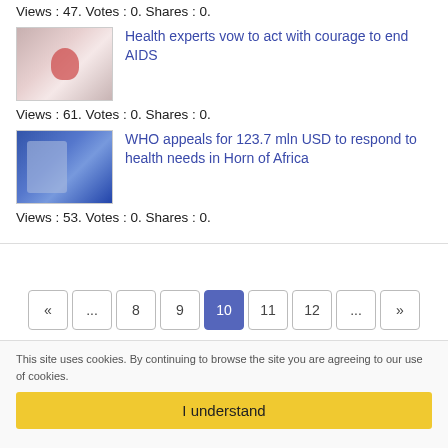Views : 47. Votes : 0. Shares : 0.
[Figure (photo): Hands holding a red ribbon (AIDS awareness)]
Health experts vow to act with courage to end AIDS
Views : 61. Votes : 0. Shares : 0.
[Figure (photo): WHO official at a press conference with WHO logo backdrop]
WHO appeals for 123.7 mln USD to respond to health needs in Horn of Africa
Views : 53. Votes : 0. Shares : 0.
« ... 8 9 10 11 12 ... »
This site uses cookies. By continuing to browse the site you are agreeing to our use of cookies.
I understand